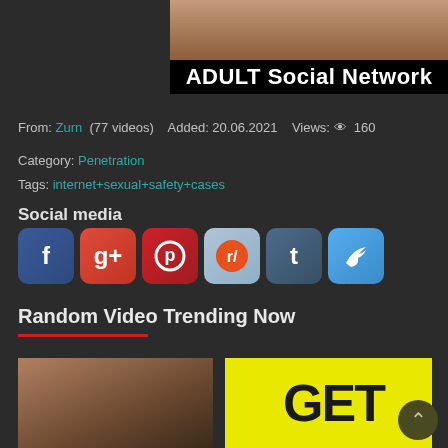[Figure (screenshot): Top banner with photo and 'ADULT Social Network' text on black background]
From: Zurn (77 videos)  Added: 20.06.2021  Views: 160
Category: Penetration
Tags: internet+sexual+safety+cases
Social media
[Figure (infographic): Social media share icons: Facebook, Google+, Pinterest, Reddit, Tumblr, Twitter]
Random Video Trending Now
[Figure (photo): Two thumbnail images at bottom: a woman on left, yellow advertisement with GET text on right]